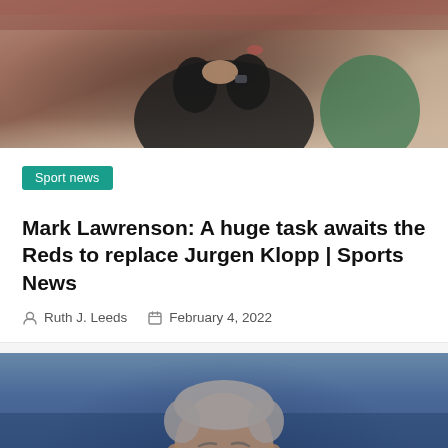[Figure (photo): Sports figure in black jacket clapping, partial view, stadium seating in background, another person in green jacket visible]
Sport news
Mark Lawrenson: A huge task awaits the Reds to replace Jurgen Klopp | Sports News
Ruth J. Leeds  February 4, 2022
[Figure (photo): Middle-aged man with grey hair, wearing a dark blue polo shirt, standing on a football pitch with blurred stadium background]